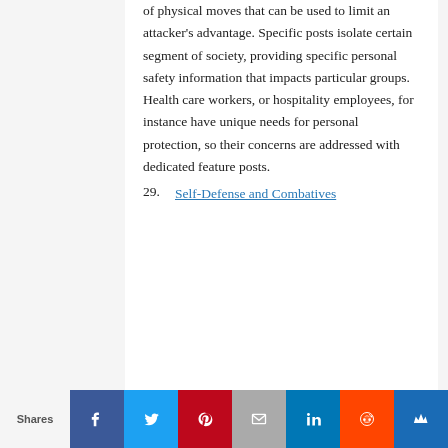of physical moves that can be used to limit an attacker's advantage. Specific posts isolate certain segment of society, providing specific personal safety information that impacts particular groups.  Health care workers, or hospitality employees, for instance have unique needs for personal protection, so their concerns are addressed with dedicated feature posts.
29. Self-Defense and Combatives
Shares | Facebook | Twitter | Pinterest | Email | LinkedIn | Reddit | Crown